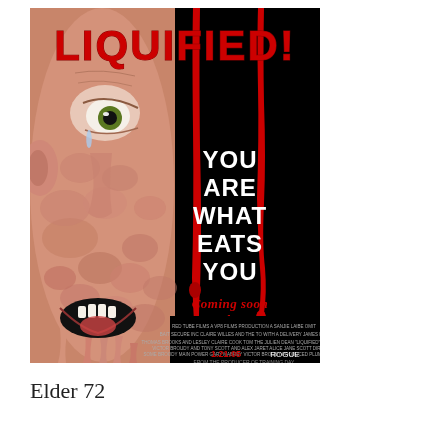[Figure (illustration): Horror movie poster for 'LIQUIFIED!' showing a distorted melting face on the left side with a large eye and mouth. The right side has a black background with red dripping blood effects from the title text. White text reads 'YOU ARE WHAT EATS YOU' and red text reads 'Coming soon to a theater near you'. Small credits text at the bottom with date '1.21.05' and 'ROGUE'. Text 'FROM THE PRODUCER OF TRAINING DAY' at the very bottom.]
Elder 72